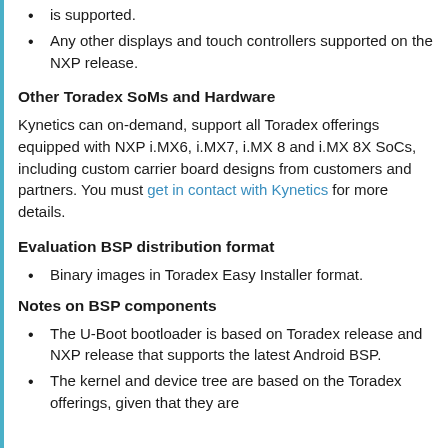is supported.
Any other displays and touch controllers supported on the NXP release.
Other Toradex SoMs and Hardware
Kynetics can on-demand, support all Toradex offerings equipped with NXP i.MX6, i.MX7, i.MX 8 and i.MX 8X SoCs, including custom carrier board designs from customers and partners. You must get in contact with Kynetics for more details.
Evaluation BSP distribution format
Binary images in Toradex Easy Installer format.
Notes on BSP components
The U-Boot bootloader is based on Toradex release and NXP release that supports the latest Android BSP.
The kernel and device tree are based on the Toradex offerings, given that they are